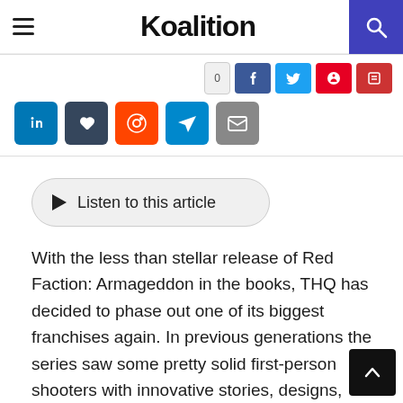Koalition
[Figure (infographic): Social media share buttons: LinkedIn, Tumblr, Reddit, Telegram, Email in second row; Facebook, Twitter, Pinterest, Reddit in top row with a count button]
[Figure (infographic): Listen to this article button with play triangle icon]
With the less than stellar release of Red Faction: Armageddon in the books, THQ has decided to phase out one of its biggest franchises again. In previous generations the series saw some pretty solid first-person shooters with innovative stories, designs, gameplay and seldom-seen destructible environments. With Red Faction: Guerilla, they